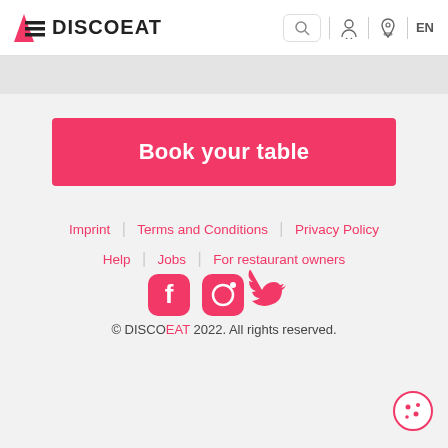DISCOEAT | Search | Account | Location | EN
Book your table
Imprint   Terms and Conditions   Privacy Policy   Help   Jobs   For restaurant owners
[Figure (illustration): Social media icons: Facebook, Instagram, Twitter]
© DISCOEAT 2022. All rights reserved.